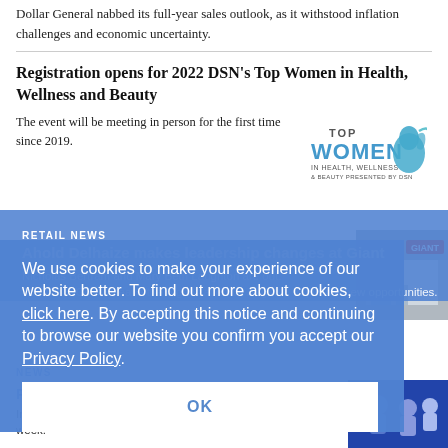Dollar General nabbed its full-year sales outlook, as it withstood inflation challenges and economic uncertainty.
Registration opens for 2022 DSN's Top Women in Health, Wellness and Beauty
The event will be meeting in person for the first time since 2019.
[Figure (logo): Top Women in Health, Wellness & Beauty presented by DSN logo with blue silhouette of a woman's face]
RETAIL NEWS
Ahold Delhaize makes leadership changes at Giant
Nicholas Bertram and Mary Beth Laughton are out. The Giant Co. will leave the organization on Aug. 31, to pursue new opportunities.
[Figure (photo): Exterior photo of a Giant grocery store]
We use cookies to make your experience of our website better. To find out more about cookies, click here. By accepting this notice and continuing to browse our website you confirm you accept our Privacy Policy.
OK
NEWS
People on the move ...
Important personnel changes you should know about this week.
[Figure (photo): Blue illustration with people figures]